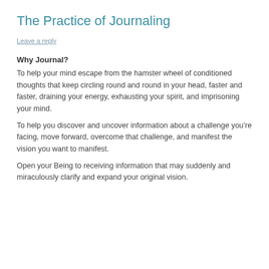The Practice of Journaling
Leave a reply
Why Journal?
To help your mind escape from the hamster wheel of conditioned thoughts that keep circling round and round in your head, faster and faster, draining your energy, exhausting your spirit, and imprisoning your mind.
To help you discover and uncover information about a challenge you’re facing, move forward, overcome that challenge, and manifest the vision you want to manifest.
Open your Being to receiving information that may suddenly and miraculously clarify and expand your original vision.